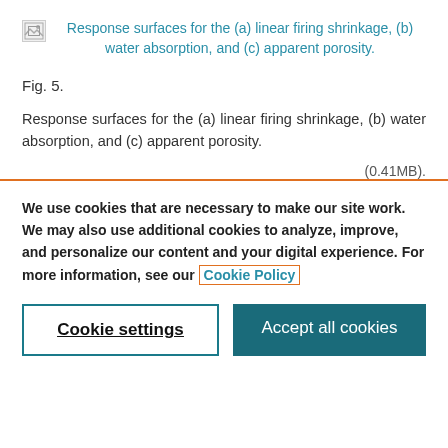Response surfaces for the (a) linear firing shrinkage, (b) water absorption, and (c) apparent porosity.
Fig. 5.
Response surfaces for the (a) linear firing shrinkage, (b) water absorption, and (c) apparent porosity.
(0.41MB).
We use cookies that are necessary to make our site work. We may also use additional cookies to analyze, improve, and personalize our content and your digital experience. For more information, see our Cookie Policy